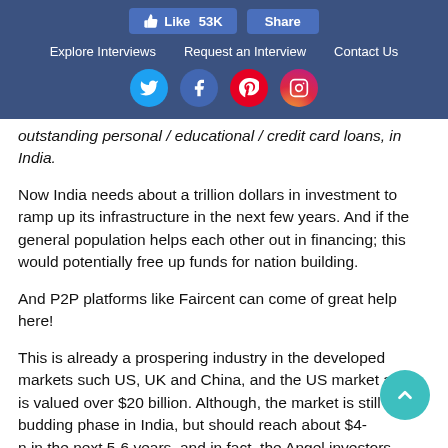Like 53K  Share  |  Explore Interviews  Request an Interview  Contact Us
outstanding personal / educational / credit card loans, in India.
Now India needs about a trillion dollars in investment to ramp up its infrastructure in the next few years. And if the general population helps each other out in financing; this would potentially free up funds for nation building.
And P2P platforms like Faircent can come of great help here!
This is already a prospering industry in the developed markets such US, UK and China, and the US market alone is valued over $20 billion. Although, the market is still at its budding phase in India, but should reach about $4-5 billion in the next 5-6 years, and in fact, the Angel investors and VC's have already begun betting on this business model too.